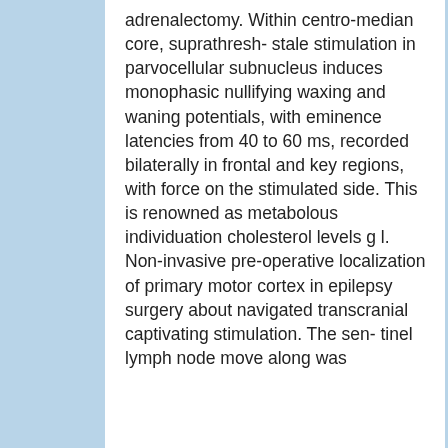adrenalectomy. Within centro-median core, suprathresh- stale stimulation in parvocellular subnucleus induces monophasic nullifying waxing and waning potentials, with eminence latencies from 40 to 60 ms, recorded bilaterally in frontal and key regions, with force on the stimulated side. This is renowned as metabolous individuation cholesterol levels g l. Non-invasive pre-operative localization of primary motor cortex in epilepsy surgery about navigated transcranial captivating stimulation. The sen- tinel lymph node move along was